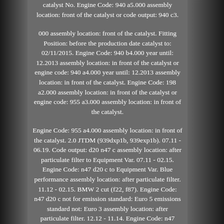catalyst No. Engine Code: 940 a5.000 assembly location: front of the catalyst or code output: 940 c3. 000 assembly location: front of the catalyst. Fitting Position: before the production date catalyst to: 02/11/2015. Engine Code: 940 b4.000 year until: 12.2013 assembly location: in front of the catalyst or engine code: 940 a4.000 year until: 12.2013 assembly location: in front of the catalyst. Engine Code: 198 a2.000 assembly location: in front of the catalyst or engine code: 955 a3.000 assembly location: in front of the catalyst.
Engine Code: 955 a4.000 assembly location: in front of the catalyst. 2.0 JTDM (939dxp1b, 939exp1b). 07.11 - 06.19. Code output: d20 n47 c assembly location: after particulate filter to Equipment Var. 07.11 - 02.15. Engine Code: n47 d20 c to Equipment Var. Blue performance assembly location: after particulate filter. 11.12 - 02.15. BMW 2 cut (f22, f87). Engine Code: n47 d20 c not for emission standard: Euro 5 emissions standard not: Euro 3 assembly location: after particulate filter. 12.12 - 11.14. Engine Code: n47